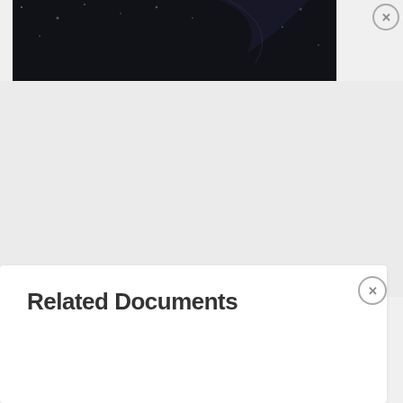[Figure (infographic): Freestar advertisement banner with dark background showing a person with rocket/tech icons. Text reads 'Tailored ad management solutions for every publisher' with a 'LEARN MORE' button and Freestar logo.]
Related Documents